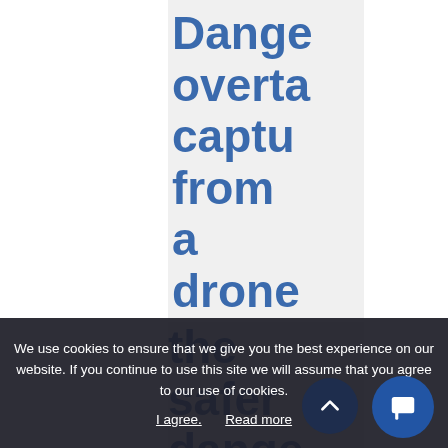Dangerous overtaking captured from a drone – Traffic analysis with DataF...
We use cookies to ensure that we give you the best experience on our website. If you continue to use this site we will assume that you agree to our use of cookies.
I agree.  Read more